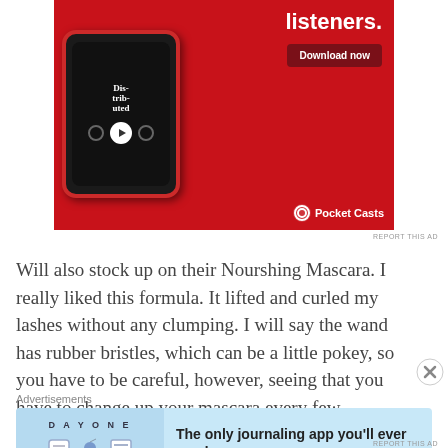[Figure (illustration): Pocket Casts podcast app advertisement with red background showing a smartphone with a podcast playing, text 'listeners.' and 'Download now' button, Pocket Casts logo at bottom right]
REPORT THIS AD
Will also stock up on their Nourshing Mascara. I really liked this formula. It lifted and curled my lashes without any clumping. I will say the wand has rubber bristles, which can be a little pokey, so you have to be careful, however, seeing that you have to change up your mascara every few months,
Advertisements
[Figure (illustration): Day One journaling app advertisement with light blue background, showing 'DAY ONE' text with icons of a journal, person, and notebook, text 'The only journaling app you'll ever need.']
REPORT THIS AD